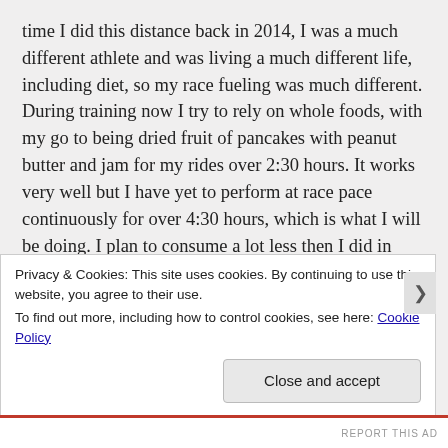time I did this distance back in 2014, I was a much different athlete and was living a much different life, including diet, so my race fueling was much different. During training now I try to rely on whole foods, with my go to being dried fruit of pancakes with peanut butter and jam for my rides over 2:30 hours. It works very well but I have yet to perform at race pace continuously for over 4:30 hours, which is what I will be doing. I plan to consume a lot less then I did in 2014 but I think I will stick to about 300 calories an hour on the bike and run maybe more but the important part being staying consistent throughout the race. I am going to be trying something new after Calgary 70.3 in July, so stay tuned for
Privacy & Cookies: This site uses cookies. By continuing to use this website, you agree to their use.
To find out more, including how to control cookies, see here: Cookie Policy